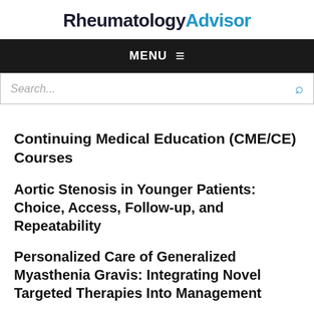RheumatologyAdvisor
MENU
Search...
Continuing Medical Education (CME/CE) Courses
Aortic Stenosis in Younger Patients: Choice, Access, Follow-up, and Repeatability
Personalized Care of Generalized Myasthenia Gravis: Integrating Novel Targeted Therapies Into Management